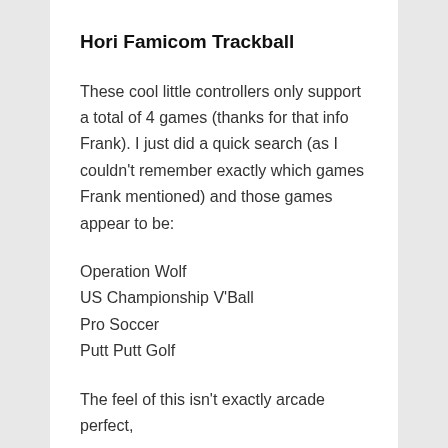Hori Famicom Trackball
These cool little controllers only support a total of 4 games (thanks for that info Frank). I just did a quick search (as I couldn't remember exactly which games Frank mentioned) and those games appear to be:
Operation Wolf
US Championship V'Ball
Pro Soccer
Putt Putt Golf
The feel of this isn't exactly arcade perfect,